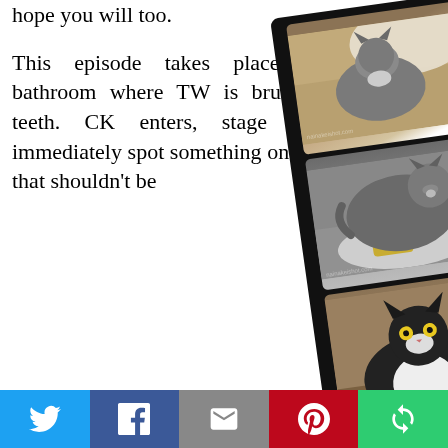hope you will too.
This episode takes place in the bathroom where TW is brushing her teeth. CK enters, stage right. I immediately spot something on the floor that shouldn't be
[Figure (photo): A film strip rotated diagonally containing three photos of cats: top photo shows a gray cat from above on a patterned surface, middle photo shows a gray cat curled up with a yellow object, bottom photo shows a tuxedo (black and white) cat looking directly at camera.]
Twitter | Facebook | Email | Pinterest | Other share options